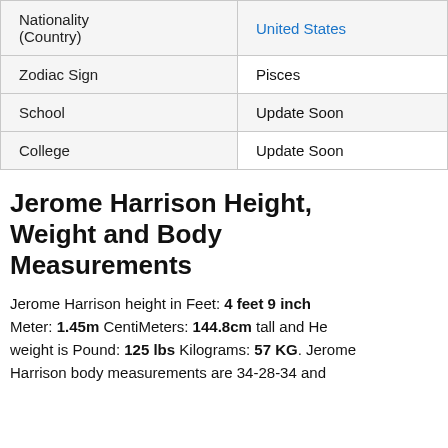| Nationality (Country) | United States |
| Zodiac Sign | Pisces |
| School | Update Soon |
| College | Update Soon |
Jerome Harrison Height, Weight and Body Measurements
Jerome Harrison height in Feet: 4 feet 9 inch Meter: 1.45m CentiMeters: 144.8cm tall and He weight is Pound: 125 lbs Kilograms: 57 KG. Jerome Harrison body measurements are 34-28-34 and